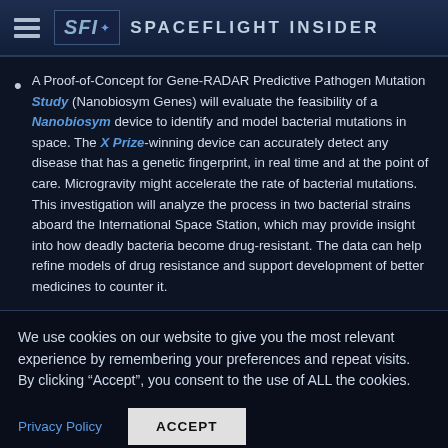Spaceflight Insider
A Proof-of-Concept for Gene-RADAR Predictive Pathogen Mutation Study (Nanobiosym Genes) will evaluate the feasibility of a Nanobiosym device to identify and model bacterial mutations in space. The X Prize-winning device can accurately detect any disease that has a genetic fingerprint, in real time and at the point of care. Microgravity might accelerate the rate of bacterial mutations. This investigation will analyze the process in two bacterial strains aboard the International Space Station, which may provide insight into how deadly bacteria become drug-resistant. The data can help refine models of drug resistance and support development of better medicines to counter it.
We use cookies on our website to give you the most relevant experience by remembering your preferences and repeat visits. By clicking “Accept”, you consent to the use of ALL the cookies.
Privacy Policy   ACCEPT